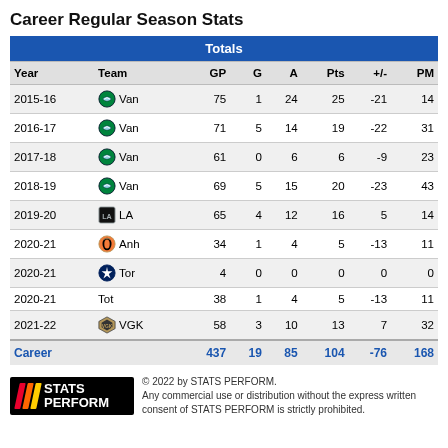Career Regular Season Stats
| Year | Team | GP | G | A | Pts | +/- | PM |
| --- | --- | --- | --- | --- | --- | --- | --- |
| 2015-16 | Van | 75 | 1 | 24 | 25 | -21 | 14 |
| 2016-17 | Van | 71 | 5 | 14 | 19 | -22 | 31 |
| 2017-18 | Van | 61 | 0 | 6 | 6 | -9 | 23 |
| 2018-19 | Van | 69 | 5 | 15 | 20 | -23 | 43 |
| 2019-20 | LA | 65 | 4 | 12 | 16 | 5 | 14 |
| 2020-21 | Anh | 34 | 1 | 4 | 5 | -13 | 11 |
| 2020-21 | Tor | 4 | 0 | 0 | 0 | 0 | 0 |
| 2020-21 | Tot | 38 | 1 | 4 | 5 | -13 | 11 |
| 2021-22 | VGK | 58 | 3 | 10 | 13 | 7 | 32 |
| Career |  | 437 | 19 | 85 | 104 | -76 | 168 |
© 2022 by STATS PERFORM. Any commercial use or distribution without the express written consent of STATS PERFORM is strictly prohibited.